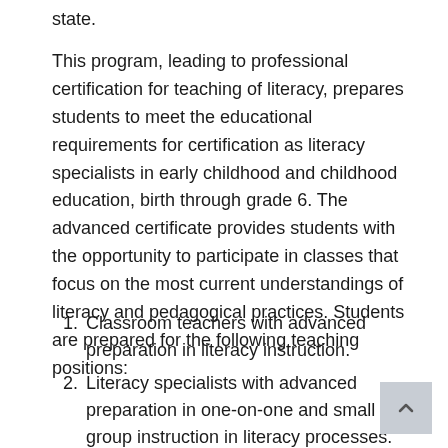state.
This program, leading to professional certification for teaching of literacy, prepares students to meet the educational requirements for certification as literacy specialists in early childhood and childhood education, birth through grade 6. The advanced certificate provides students with the opportunity to participate in classes that focus on the most current understandings of literacy and pedagogical practices. Students are prepared for the following teaching positions:
Classroom teachers with advanced preparation in literacy instruction.
Literacy specialists with advanced preparation in one-on-one and small group instruction in literacy processes.